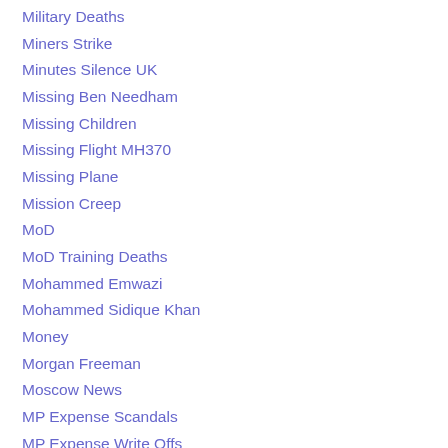Military Deaths
Miners Strike
Minutes Silence UK
Missing Ben Needham
Missing Children
Missing Flight MH370
Missing Plane
Mission Creep
MoD
MoD Training Deaths
Mohammed Emwazi
Mohammed Sidique Khan
Money
Morgan Freeman
Moscow News
MP Expense Scandals
MP Expense Write Offs
MP Pay Rise